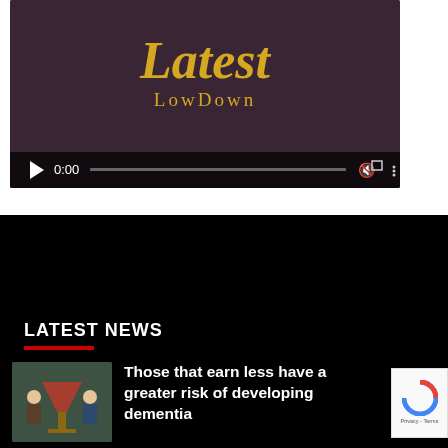[Figure (screenshot): Video player thumbnail showing 'Latest LowDown' title in gold text on dark purple/maroon textured background, with video controls showing 0:00 timestamp and progress bar]
LATEST NEWS
[Figure (illustration): News article thumbnail illustration showing figures with a cocktail glass on dark teal background]
Those that earn less have a greater risk of developing dementia